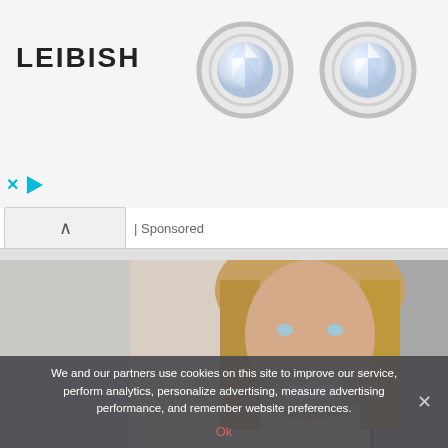[Figure (screenshot): Leibish jewelry advertisement banner with logo on left and two round diamond stud earrings in bezel settings on white/light gray background]
x ▷
| Sponsored
[Figure (photo): Portrait photo of a smiling young woman with long blonde hair against a neutral office/indoor background]
We and our partners use cookies on this site to improve our service, perform analytics, personalize advertising, measure advertising performance, and remember website preferences.
Ok